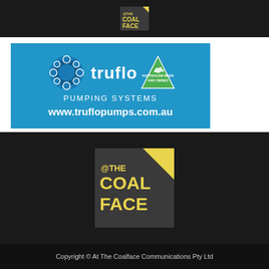[Figure (logo): @ The Coal Face logo in top black navigation bar]
[Figure (logo): Truflo Pumping Systems advertisement banner on blue background with Australian Made and Owned logo and website www.truflopumps.com.au]
[Figure (logo): @ THE COAL FACE large logo on dark background, yellow text on dark grey/black square with yellow diagonal stripe in corner]
Copyright © At The Coalface Communications Pty Ltd